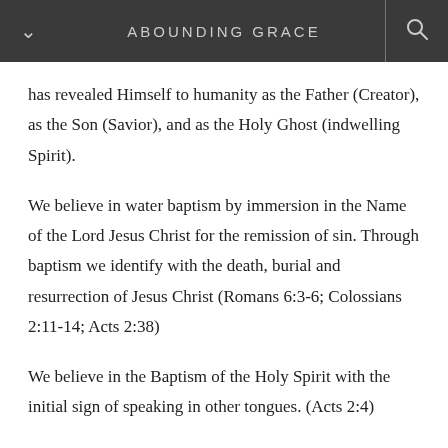ABOUNDING GRACE
has revealed Himself to humanity as the Father (Creator), as the Son (Savior), and as the Holy Ghost (indwelling Spirit).
We believe in water baptism by immersion in the Name of the Lord Jesus Christ for the remission of sin. Through baptism we identify with the death, burial and resurrection of Jesus Christ (Romans 6:3-6; Colossians 2:11-14; Acts 2:38)
We believe in the Baptism of the Holy Spirit with the initial sign of speaking in other tongues. (Acts 2:4)
We believe in the manifestation of the gifts of the Holy Spirit. He ministers to His people through tongues,